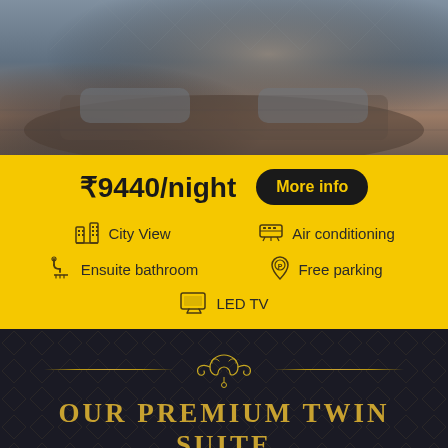[Figure (photo): Hotel room bed photo, dark moody tones with grey/brown bedding and fabric detail]
₹9440/night  More info
City View
Air conditioning
Ensuite bathroom
Free parking
LED TV
OUR PREMIUM TWIN SUITE